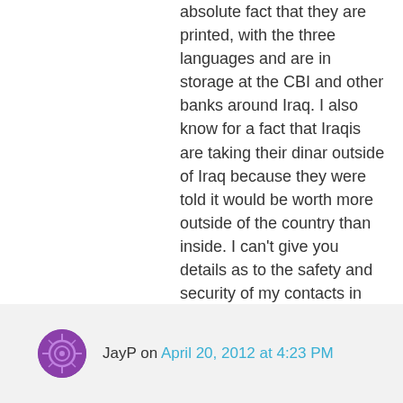absolute fact that they are printed, with the three languages and are in storage at the CBI and other banks around Iraq. I also know for a fact that Iraqis are taking their dinar outside of Iraq because they were told it would be worth more outside of the country than inside. I can't give you details as to the safety and security of my contacts in Iraq. I have never pumped and I am not a guru. I only provide info to people on our site as I receive it from Iraq.
desertdog
Like
JayP on April 20, 2012 at 4:23 PM